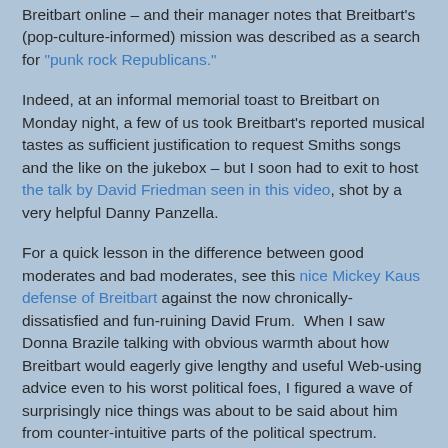Breitbart online – and their manager notes that Breitbart's (pop-culture-informed) mission was described as a search for "punk rock Republicans."
Indeed, at an informal memorial toast to Breitbart on Monday night, a few of us took Breitbart's reported musical tastes as sufficient justification to request Smiths songs and the like on the jukebox – but I soon had to exit to host the talk by David Friedman seen in this video, shot by a very helpful Danny Panzella.
For a quick lesson in the difference between good moderates and bad moderates, see this nice Mickey Kaus defense of Breitbart against the now chronically-dissatisfied and fun-ruining David Frum.  When I saw Donna Brazile talking with obvious warmth about how Breitbart would eagerly give lengthy and useful Web-using advice even to his worst political foes, I figured a wave of surprisingly nice things was about to be said about him from counter-intuitive parts of the political spectrum.
I have no idea what Obama footage Breitbart was planning to release at the time of his death, but I do know it...